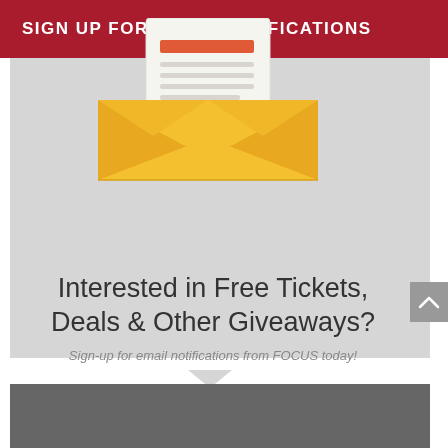SIGN UP FOR EMAIL NOTIFICATIONS
[Figure (illustration): Open envelope icon with a letter/document sticking out of it. The envelope is yellow/gold and the letter has an orange-red highlighted bar and grey lines representing text.]
Interested in Free Tickets, Deals & Other Giveaways?
Sign-up for email notifications from FOCUS today!
FIRST NAME